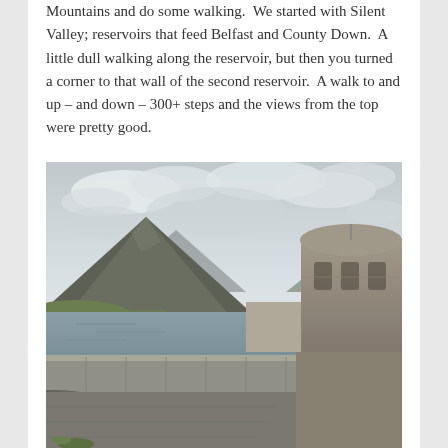Mountains and do some walking.  We started with Silent Valley; reservoirs that feed Belfast and County Down.  A little dull walking along the reservoir, but then you turned a corner to that wall of the second reservoir.  A walk to and up – and down – 300+ steps and the views from the top were pretty good.
[Figure (photo): Photograph of Silent Valley reservoir in the Mourne Mountains, Northern Ireland. In the foreground is the curved stone spillway of a dam wall with a stone balustrade. To the right stands a cylindrical stone tower with arched windows. The reservoir stretches into the background with a steep conical mountain peak rising behind it under a cloudy grey sky. Green hillsides are visible on the left.]